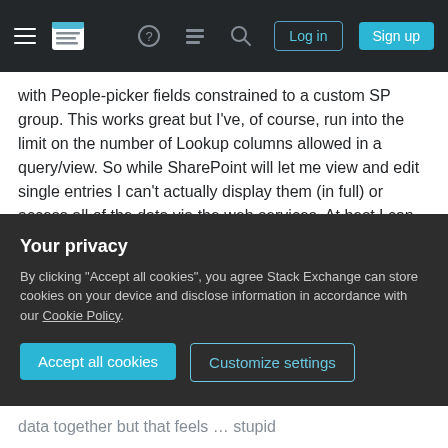Stack Exchange navigation bar with hamburger menu, logo, help, chat, search icons, Log in and Sign up buttons
with People-picker fields constrained to a custom SP group. This works great but I've, of course, run into the limit on the number of Lookup columns allowed in a query/view. So while SharePoint will let me view and edit single entries I can't actually display them (in full) or access all of the data via the web services. At best I can access a curtailed view.
Obviously replacing the People-picker with another lookup column doesn't solve the problem.
It wouldn't be as elegant, but using multi-select
Your privacy
By clicking "Accept all cookies", you agree Stack Exchange can store cookies on your device and disclose information in accordance with our Cookie Policy.
Accept all cookies
Customize settings
data together but that feels … stupid